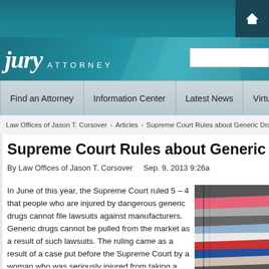[Figure (screenshot): Website header with teal gradient background and home icon]
jury ATTORNEY
[Figure (screenshot): Navigation bar with: Find an Attorney | Information Center | Latest News | Virtual Map | A...]
Law Offices of Jason T. Corsover > Articles > Supreme Court Rules about Generic Drug L...
Supreme Court Rules about Generic Drug Law...
By Law Offices of Jason T. Corsover    Sep. 9, 2013 9:26a
In June of this year, the Supreme Court ruled 5 – 4 that people who are injured by dangerous generic drugs cannot file lawsuits against manufacturers. Generic drugs cannot be pulled from the market as a result of such lawsuits. The ruling came as a result of a case put before the Supreme Court by a woman who was seriously injured from taking a generic painkiller. The woman sustained permanent disabilities when most of her skin was damaged after taking the
[Figure (photo): Stack of colorful books or binders, partially visible on right side]